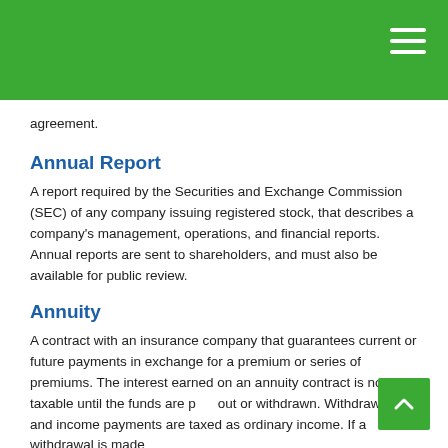agreement.
Annual Report
A report required by the Securities and Exchange Commission (SEC) of any company issuing registered stock, that describes a company's management, operations, and financial reports. Annual reports are sent to shareholders, and must also be available for public review.
Annuity
A contract with an insurance company that guarantees current or future payments in exchange for a premium or series of premiums. The interest earned on an annuity contract is not taxable until the funds are paid out or withdrawn. Withdrawals and income payments are taxed as ordinary income. If a withdrawal is made